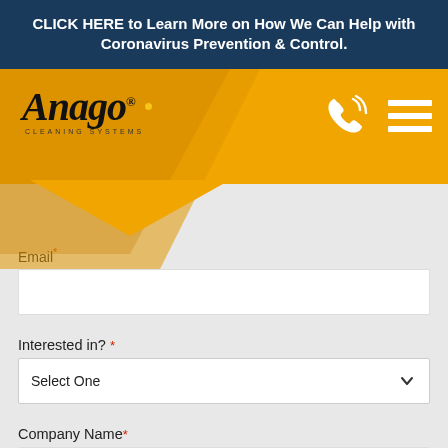CLICK HERE to Learn More on How We Can Help with Coronavirus Prevention & Control.
[Figure (logo): Anago Cleaning Systems logo with phone and hamburger menu icons on orange/gold header bar with diamond chevron shape]
Email *
[Figure (screenshot): Empty email text input field]
Interested in? *
[Figure (screenshot): Select One dropdown field with chevron]
Company Name *
[Figure (screenshot): Empty company name text input field]